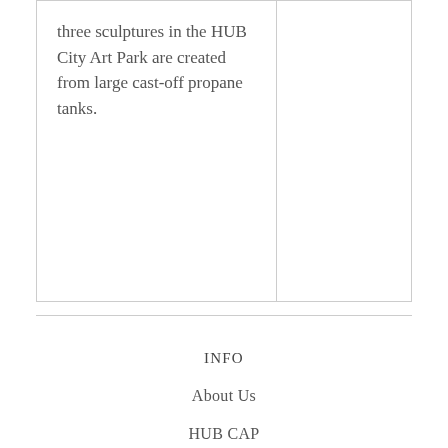three sculptures in the HUB City Art Park are created from large cast-off propane tanks.
INFO
About Us
HUB CAP
Artist List